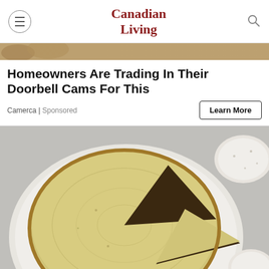Canadian Living
[Figure (photo): Partial top of a food image, likely bread or pastry with brown crust against a light background]
Homeowners Are Trading In Their Doorbell Cams For This
Camerca | Sponsored
[Figure (photo): Overhead photo of a round cheesecake or pie on a white plate with one slice cut and pulled out, showing a dark filling layer, on a grey surface with a speckled white bowl in the upper right corner]